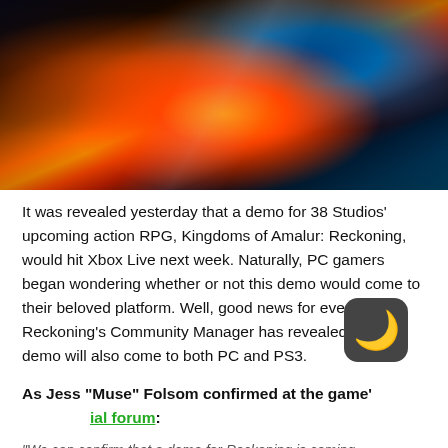[Figure (photo): Fantasy action RPG game art showing fiery battle scene with flames, lightning and dramatic lighting — Kingdoms of Amalur: Reckoning promotional image]
It was revealed yesterday that a demo for 38 Studios' upcoming action RPG, Kingdoms of Amalur: Reckoning, would hit Xbox Live next week. Naturally, PC gamers began wondering whether or not this demo would come to their beloved platform. Well, good news for everyone as Reckoning's Community Manager has revealed that the demo will also come to both PC and PS3.
As Jess “Muse” Folsom confirmed at the game’s official forum:
“We can confirm that a demo for Reckoning is coming